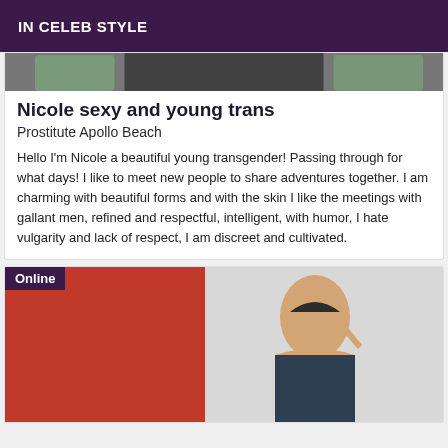IN CELEB STYLE
[Figure (photo): Partial photo of a person visible at the top of the card]
Nicole sexy and young trans
Prostitute Apollo Beach
Hello I'm Nicole a beautiful young transgender! Passing through for what days! I like to meet new people to share adventures together. I am charming with beautiful forms and with the skin I like the meetings with gallant men, refined and respectful, intelligent, with humor, I hate vulgarity and lack of respect, I am discreet and cultivated.
[Figure (photo): Photo of a young woman with dark hair against a red and white background, with an 'Online' badge overlay]